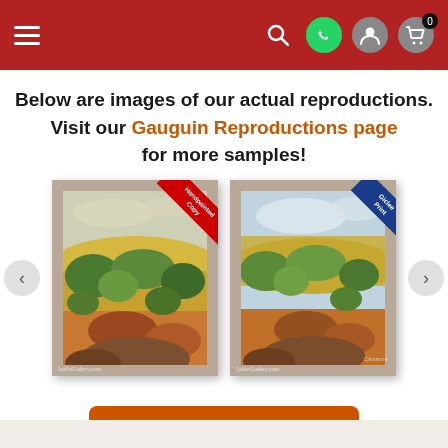Navigation bar with hamburger menu, search, WhatsApp, user, and cart icons
Below are images of our actual reproductions. Visit our Gauguin Reproductions page for more samples!
[Figure (photo): Carousel showing two framed painting reproductions of a landscape (likely Cézanne). Left painting has a red corner ribbon. Right painting has a blue corner ribbon. Navigation arrows on left and right sides.]
View 1000's of more samples!